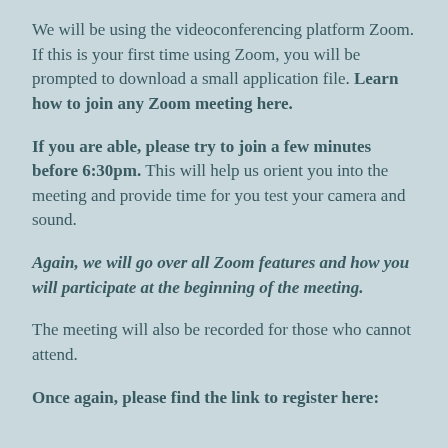We will be using the videoconferencing platform Zoom. If this is your first time using Zoom, you will be prompted to download a small application file. Learn how to join any Zoom meeting here.
If you are able, please try to join a few minutes before 6:30pm. This will help us orient you into the meeting and provide time for you test your camera and sound.
Again, we will go over all Zoom features and how you will participate at the beginning of the meeting.
The meeting will also be recorded for those who cannot attend.
Once again, please find the link to register here: